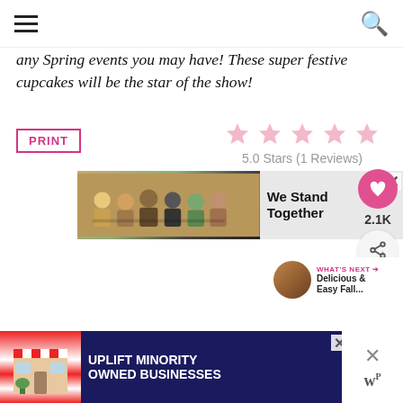Navigation header with hamburger menu and search icon
any Spring events you may have! These super festive cupcakes will be the star of the show!
PRINT
5.0 Stars (1 Reviews)
[Figure (screenshot): Advertisement banner: group of people with arms around each other, text 'We Stand Together']
2.1K
[Figure (screenshot): WHAT'S NEXT arrow: Delicious & Easy Fall...]
[Figure (screenshot): Advertisement banner: UPLIFT MINORITY OWNED BUSINESSES with store illustration]